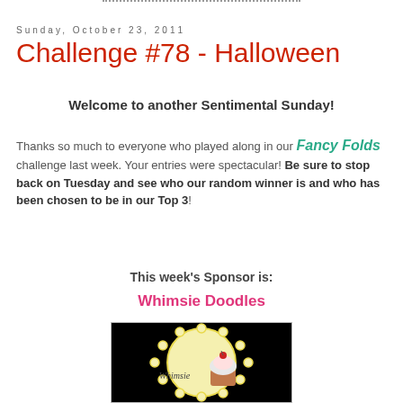Sunday, October 23, 2011
Challenge #78 - Halloween
Welcome to another Sentimental Sunday!
Thanks so much to everyone who played along in our Fancy Folds challenge last week. Your entries were spectacular! Be sure to stop back on Tuesday and see who our random winner is and who has been chosen to be in our Top 3!
This week's Sponsor is:
Whimsie Doodles
[Figure (logo): Whimsie Doodles logo on black background showing a circular badge with scalloped yellow border and a cupcake illustration with the Whimsie text]